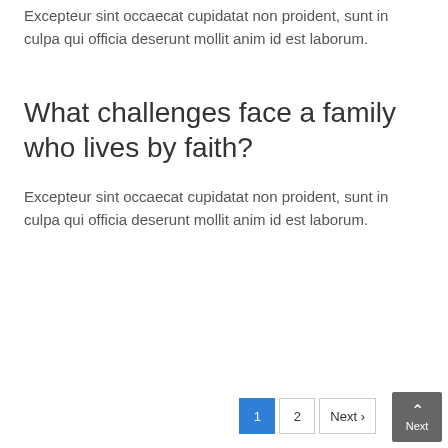Excepteur sint occaecat cupidatat non proident, sunt in culpa qui officia deserunt mollit anim id est laborum.
What challenges face a family who lives by faith?
Excepteur sint occaecat cupidatat non proident, sunt in culpa qui officia deserunt mollit anim id est laborum.
1 2 Next